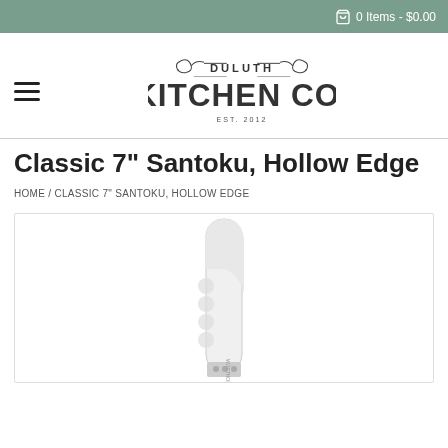0 Items - $0.00
[Figure (logo): Duluth Kitchen Co. logo with decorative scrollwork, EST. 2012]
Classic 7" Santoku, Hollow Edge
HOME / CLASSIC 7" SANTOKU, HOLLOW EDGE
[Figure (photo): Photo of a Classic 7 inch Santoku knife with hollow edge, showing the blade close-up]